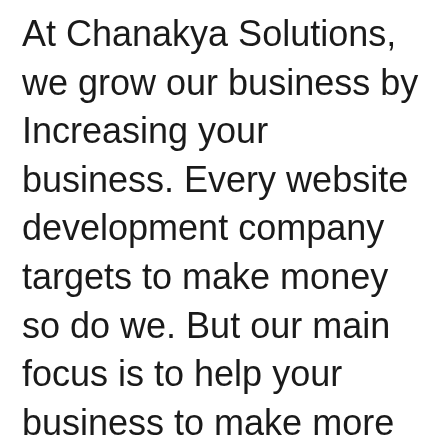At Chanakya Solutions, we grow our business by Increasing your business. Every website development company targets to make money so do we. But our main focus is to help your business to make more profit. Our goal is to build trust and long term relationships with our clients.